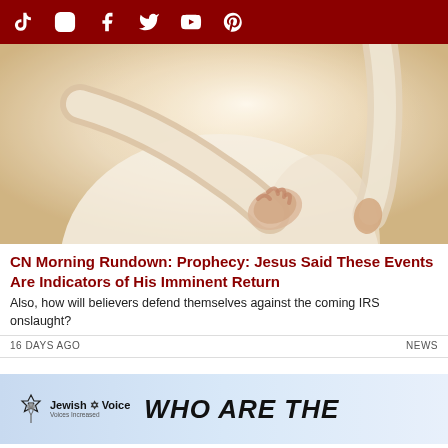Social media icons: TikTok, Instagram, Facebook, Twitter, YouTube, Pinterest
[Figure (photo): A person in white robes with one hand outstretched open, palm up, in a bright warm light background]
CN Morning Rundown: Prophecy: Jesus Said These Events Are Indicators of His Imminent Return
Also, how will believers defend themselves against the coming IRS onslaught?
16 DAYS AGO   NEWS
[Figure (advertisement): Jewish Voice advertisement with logo showing a Star of David and wheat symbol, text reads 'WHO ARE THE']